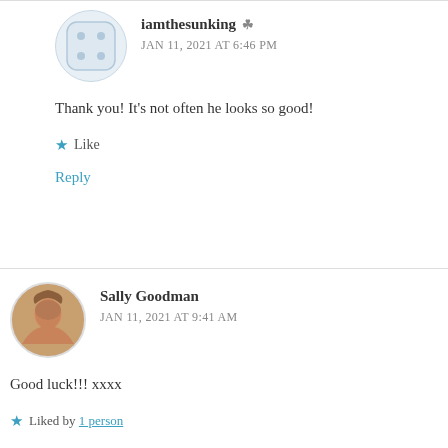iamthesunking
JAN 11, 2021 AT 6:46 PM
Thank you! It's not often he looks so good!
Like
Reply
Sally Goodman
JAN 11, 2021 AT 9:41 AM
Good luck!!! xxxx
Liked by 1 person